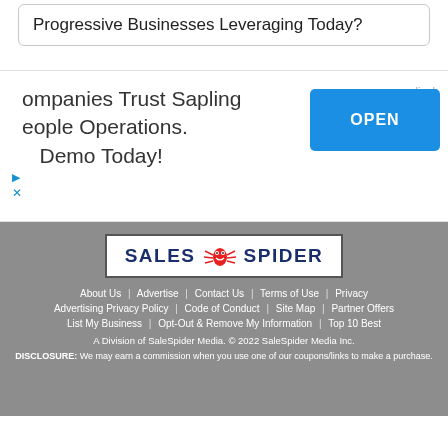Progressive Businesses Leveraging Today?
[Figure (illustration): Advertisement banner for Sapling HR showing partial text 'ompanies Trust Sapling eople Operations. Demo Today!' with an OPEN button on the right side]
[Figure (logo): Sales Spider logo with red cartoon spider between SALES and SPIDER text in dark blue on white background]
About Us  |  Advertise  |  Contact Us  |  Terms of Use  |  Privacy
Advertising Privacy Policy  |  Code of Conduct  |  Site Map  |  Partner Offers
List My Business  |  Opt-Out & Remove My Information  |  Top 10 Best
A Division of SaleSpider Media. © 2022 SaleSpider Media Inc.
DISCLOSURE: We may earn a commission when you use one of our coupons/links to make a purchase.